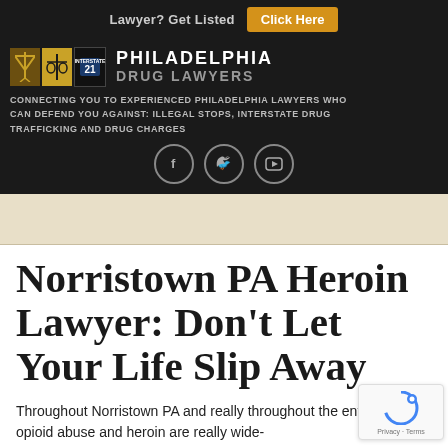Lawyer? Get Listed   Click Here
[Figure (logo): Philadelphia Drug Lawyers logo with scales of justice, hammer, and interstate 21 highway sign icons]
CONNECTING YOU TO EXPERIENCED PHILADELPHIA LAWYERS WHO CAN DEFEND YOU AGAINST: ILLEGAL STOPS, INTERSTATE DRUG TRAFFICKING AND DRUG CHARGES
[Figure (illustration): Social media icons: Facebook, Twitter, YouTube]
Norristown PA Heroin Lawyer: Don’t Let Your Life Slip Away
Throughout Norristown PA and really throughout the entire country, opioid abuse and heroin are really wide-